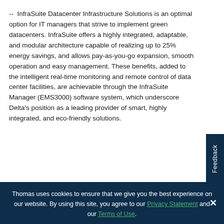-- InfraSuite Datacenter Infrastructure Solutions is an optimal option for IT managers that strive to implement green datacenters. InfraSuite offers a highly integrated, adaptable, and modular architecture capable of realizing up to 25% energy savings, and allows pay-as-you-go expansion, smooth operation and easy management. These benefits, added to the intelligent real-time monitoring and remote control of data center facilities, are achievable through the InfraSuite Manager (EMS3000) software system, which underscore Delta's position as a leading provider of smart, highly integrated, and eco-friendly solutions.
Visitors are welcome to come and see Delta's smart solutions
Thomas uses cookies to ensure that we give you the best experience on our website. By using this site, you agree to our Privacy Statement and our Terms of Use.